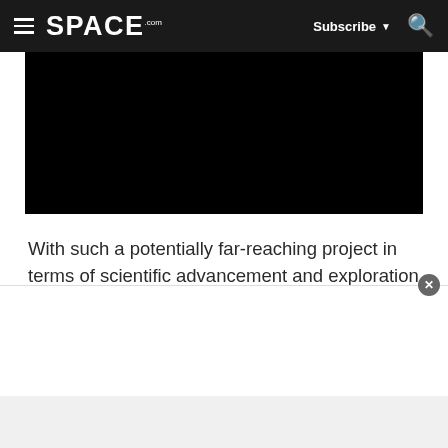SPACE.com — Subscribe — Search
[Figure (screenshot): Black video placeholder area]
With such a potentially far-reaching project in terms of scientific advancement and exploration of the universe, it is important to lay down some ground rules from the start, Laukien said in the news conference. "It is very important that we keep in mind that the Galileo Project is not for something ambitiou...